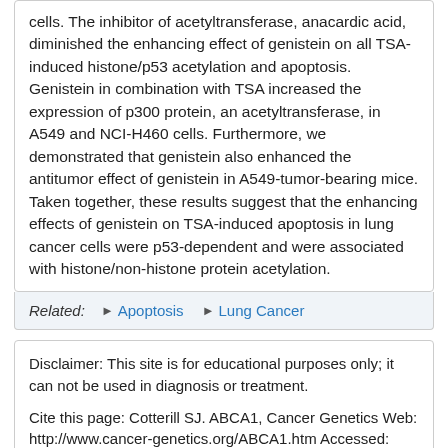cells. The inhibitor of acetyltransferase, anacardic acid, diminished the enhancing effect of genistein on all TSA-induced histone/p53 acetylation and apoptosis. Genistein in combination with TSA increased the expression of p300 protein, an acetyltransferase, in A549 and NCI-H460 cells. Furthermore, we demonstrated that genistein also enhanced the antitumor effect of genistein in A549-tumor-bearing mice. Taken together, these results suggest that the enhancing effects of genistein on TSA-induced apoptosis in lung cancer cells were p53-dependent and were associated with histone/non-histone protein acetylation.
Related: ► Apoptosis ► Lung Cancer
Disclaimer: This site is for educational purposes only; it can not be used in diagnosis or treatment.
Cite this page: Cotterill SJ. ABCA1, Cancer Genetics Web: http://www.cancer-genetics.org/ABCA1.htm Accessed: Thu Sep 01 2022